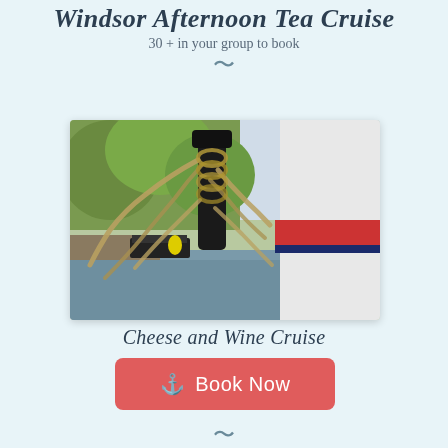Windsor Afternoon Tea Cruise
30 + in your group to book
[Figure (photo): Close-up photo of a mooring bollard with thick rope tied around it on a narrowboat bow, with a canal and trees visible in the background and another narrowboat in the distance.]
Cheese and Wine Cruise
⚓ Book Now